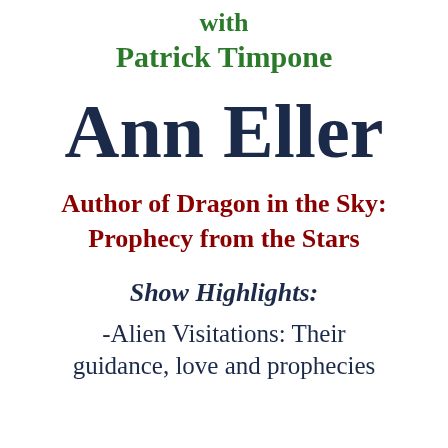with Patrick Timpone
Ann Eller
Author of Dragon in the Sky: Prophecy from the Stars
Show Highlights:
-Alien Visitations: Their guidance, love and prophecies